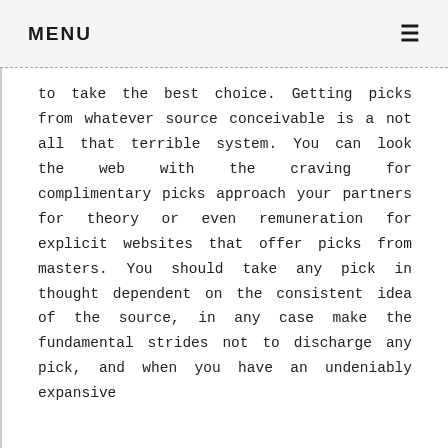MENU ≡
to take the best choice. Getting picks from whatever source conceivable is a not all that terrible system. You can look the web with the craving for complimentary picks approach your partners for theory or even remuneration for explicit websites that offer picks from masters. You should take any pick in thought dependent on the consistent idea of the source, in any case make the fundamental strides not to discharge any pick, and when you have an undeniably expansive